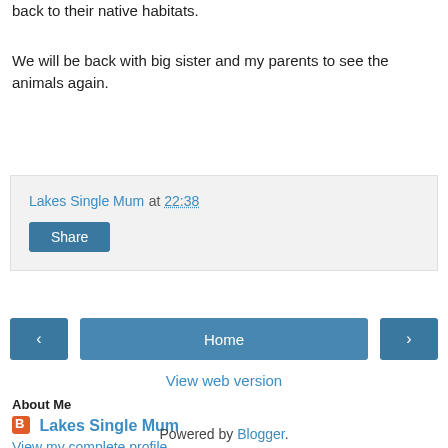back to their native habitats.
We will be back with big sister and my parents to see the animals again.
Lakes Single Mum at 22:38
Share
Home
View web version
About Me
Lakes Single Mum
View my complete profile
Powered by Blogger.